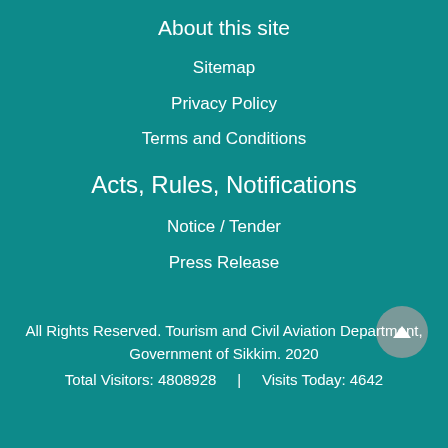About this site
Sitemap
Privacy Policy
Terms and Conditions
Acts, Rules, Notifications
Notice / Tender
Press Release
All Rights Reserved. Tourism and Civil Aviation Department, Government of Sikkim. 2020
Total Visitors: 4808928   |   Visits Today: 4642